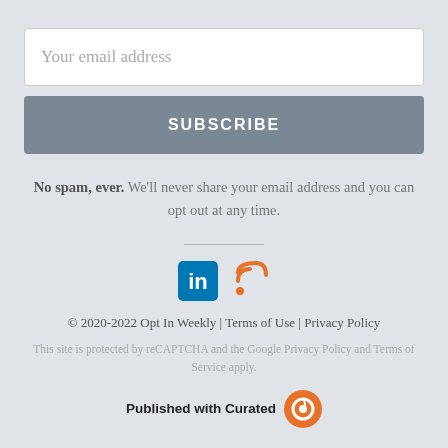Your email address
SUBSCRIBE
No spam, ever. We'll never share your email address and you can opt out at any time.
[Figure (illustration): LinkedIn and RSS feed social media icons]
© 2020-2022 Opt In Weekly | Terms of Use | Privacy Policy
This site is protected by reCAPTCHA and the Google Privacy Policy and Terms of Service apply.
Published with Curated